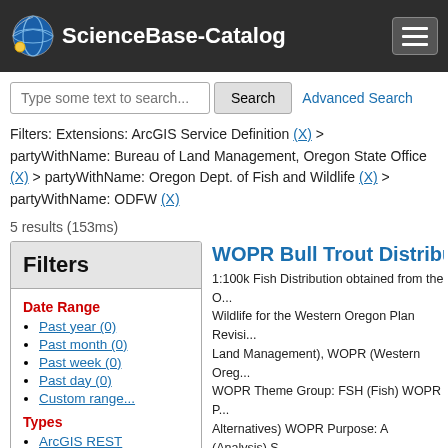ScienceBase-Catalog
Type some text to search... Search Advanced Search
Filters: Extensions: ArcGIS Service Definition (X) > partyWithName: Bureau of Land Management, Oregon State Office (X) > partyWithName: Oregon Dept. of Fish and Wildlife (X) > partyWithName: ODFW (X)
5 results (153ms)
Filters
Date Range
Past year (0)
Past month (0)
Past week (0)
Past day (0)
Custom range...
Types
ArcGIS REST
WOPR Bull Trout Distribution A
1:100k Fish Distribution obtained from the Oregon Dept. of Fish and Wildlife for the Western Oregon Plan Revision (Bureau of Land Management), WOPR (Western Ore... WOPR Theme Group: FSH (Fish) WOPR P... Alternatives) WOPR Purpose: A (Analysis) S... Information from ODFW as follows: Proced... were intitially developed by ODFW's Bull Tr... based on data collected through 2000 by st... fishery biologists. Those data represent are... Trout presence. Most surveys captured by t...